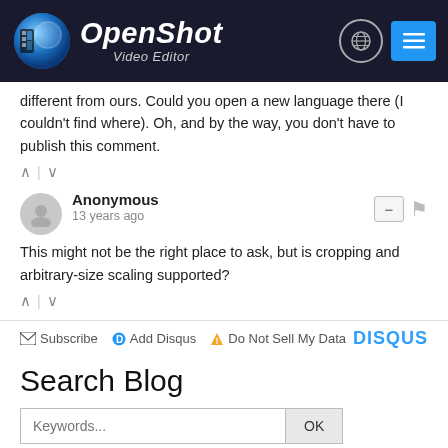[Figure (logo): OpenShot Video Editor logo with globe and menu icons in dark header]
different from ours. Could you open a new language there (I couldn't find where). Oh, and by the way, you don't have to publish this comment.
Anonymous • 13 years ago
This might not be the right place to ask, but is cropping and arbitrary-size scaling supported?
Subscribe  Add Disqus  Do Not Sell My Data  DISQUS
Search Blog
Keywords...  OK